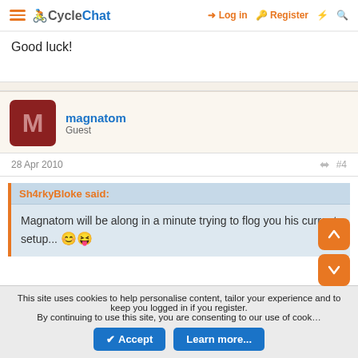CycleChat — Log in   Register
Good luck!
magnatom
Guest
28 Apr 2010   #4
Sh4rkyBloke said:
Magnatom will be along in a minute trying to flog you his current setup... 🙂😝
This site uses cookies to help personalise content, tailor your experience and to keep you logged in if you register.
By continuing to use this site, you are consenting to our use of cookies.